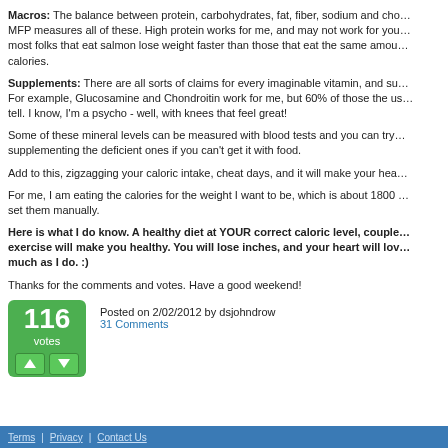Macros: The balance between protein, carbohydrates, fat, fiber, sodium and cho... MFP measures all of these. High protein works for me, and may not work for you... most folks that eat salmon lose weight faster than those that eat the same amou... calories.
Supplements: There are all sorts of claims for every imaginable vitamin, and su... For example, Glucosamine and Chondroitin work for me, but 60% of those the us... tell. I know, I'm a psycho - well, with knees that feel great!
Some of these mineral levels can be measured with blood tests and you can try ... supplementing the deficient ones if you can't get it with food.
Add to this, zigzagging your caloric intake, cheat days, and it will make your hea...
For me, I am eating the calories for the weight I want to be, which is about 1800 ... set them manually.
Here is what I do know. A healthy diet at YOUR correct caloric level, couple... exercise will make you healthy. You will lose inches, and your heart will lov... much as I do. :)
Thanks for the comments and votes. Have a good weekend!
[Figure (infographic): Vote counter showing 116 votes in a green rounded box with up/down arrow buttons below]
Posted on 2/02/2012 by dsjohndrow
31 Comments
Terms | Privacy | Contact Us